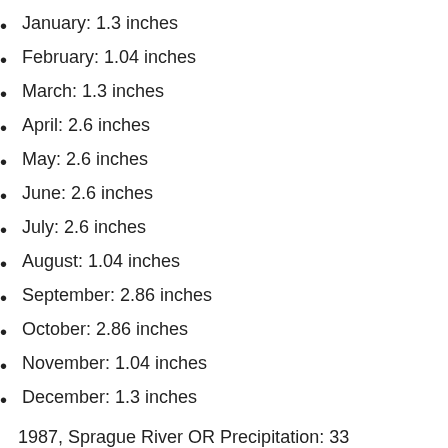January: 1.3 inches
February: 1.04 inches
March: 1.3 inches
April: 2.6 inches
May: 2.6 inches
June: 2.6 inches
July: 2.6 inches
August: 1.04 inches
September: 2.86 inches
October: 2.86 inches
November: 1.04 inches
December: 1.3 inches
1987, Sprague River OR Precipitation: 33
January: 1.32 inches
February: 1.32 inches
March: 1.32 inches
April: 2.31 inches